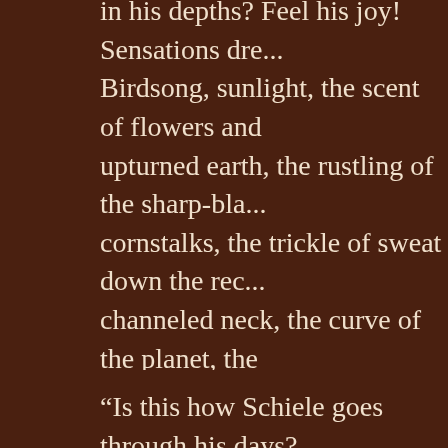in his depths? Feel his joy! Sensations dre... Birdsong, sunlight, the scent of flowers and upturned earth, the rustling of the sharp-bla... cornstalks, the trickle of sweat down the rec... channeled neck, the curve of the planet, the premature outline of the full moon – a thous... enfold this man. David shares his pleasure... mind, reverent, awed. The world is a mighty breaks from his stasis, raises his hoe, bring... muscles go taut and metal digs into earth, a as it should be, all conforms to the divine pl...
“Is this how Schiele goes through his days?... happiness possible? David is surprised to fi... in his eyes. This simple man, this narrow m... grace.”
In Hermann Hesse’s Siddhartha, there is a description, though not of happiness but of